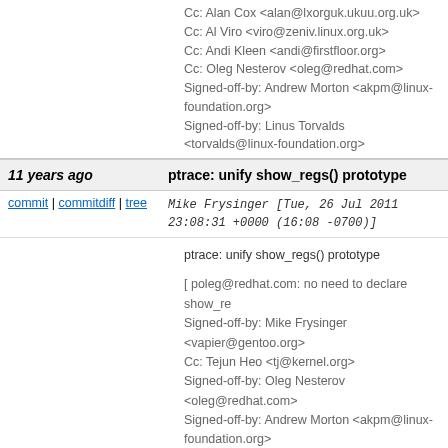Cc: Alan Cox <alan@lxorguk.ukuu.org.uk>
Cc: Al Viro <viro@zeniv.linux.org.uk>
Cc: Andi Kleen <andi@firstfloor.org>
Cc: Oleg Nesterov <oleg@redhat.com>
Signed-off-by: Andrew Morton <akpm@linux-foundation.org>
Signed-off-by: Linus Torvalds <torvalds@linux-foundation.org>
11 years ago    ptrace: unify show_regs() prototype
commit | commitdiff | tree    Mike Frysinger [Tue, 26 Jul 2011 23:08:31 +0000 (16:08 -0700)]
ptrace: unify show_regs() prototype

[ poleg@redhat.com: no need to declare show_regs...
Signed-off-by: Mike Frysinger <vapier@gentoo.org>
Cc: Tejun Heo <tj@kernel.org>
Signed-off-by: Oleg Nesterov <oleg@redhat.com>
Signed-off-by: Andrew Morton <akpm@linux-foundation.org>
Signed-off-by: Linus Torvalds <torvalds@linux-foundation.org>
11 years ago    cpusets: randomize node rotor used in cpuset_mem_spread_node()
commit | commitdiff | tree    Michal Hocko [Tue, 26 Jul 2011